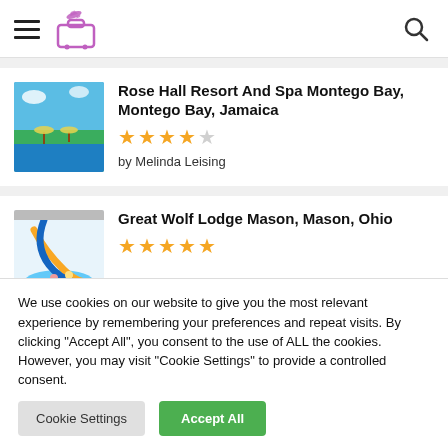Navigation header with hamburger menu, travel logo, and search icon
Rose Hall Resort And Spa Montego Bay, Montego Bay, Jamaica
★★★★☆ by Melinda Leising
Great Wolf Lodge Mason, Mason, Ohio
★★★★★
We use cookies on our website to give you the most relevant experience by remembering your preferences and repeat visits. By clicking "Accept All", you consent to the use of ALL the cookies. However, you may visit "Cookie Settings" to provide a controlled consent.